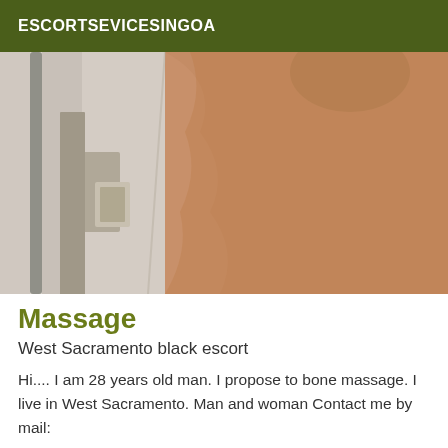ESCORTSEVICESINGOA
[Figure (photo): Close-up photograph of a person's leg/body near a wall with a door or fixture visible on the left side]
Massage
West Sacramento black escort
Hi.... I am 28 years old man. I propose to bone massage. I live in West Sacramento. Man and woman Contact me by mail: